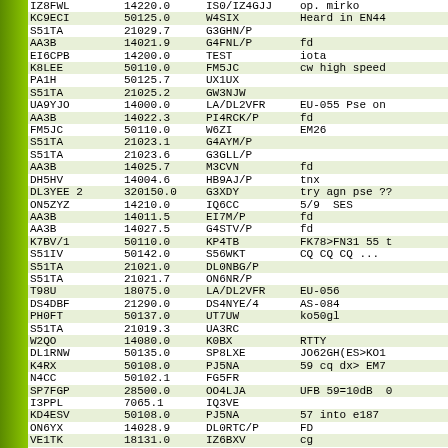| Callsign | Frequency | DX | Comment |
| --- | --- | --- | --- |
| IZ8FWL | 14220.0 | IS0/IZ4GJJ | op. mirko |
| KC9ECI | 50125.0 | W4SIX | Heard in EN44 |
| S51TA | 21029.7 | G3GHN/P |  |
| AA3B | 14021.9 | G4FNL/P | fd |
| EI6CPB | 14200.0 | TEST | iota |
| K8LEE | 50110.0 | FM5JC | cw high speed |
| PA1H | 50125.7 | UX1UX |  |
| S51TA | 21025.2 | GW3NJW |  |
| UA9YJO | 14000.0 | LA/DL2VFR | EU-055 Pse on |
| AA3B | 14022.3 | PI4RCK/P | fd |
| FM5JC | 50110.0 | W6ZI | EM26 |
| S51TA | 21023.1 | G4AYM/P |  |
| S51TA | 21023.6 | G3GLL/P |  |
| AA3B | 14025.7 | M3CVN | fd |
| DH5HV | 14004.6 | HB9AJ/P | tnx |
| DL3YEE  2 | 320150.0 | G3XDY | try agn pse ?? |
| ON5ZYZ | 14210.0 | IQ6CC | 5/9  SES |
| AA3B | 14011.5 | EI7M/P | fd |
| AA3B | 14027.5 | G4STV/P | fd |
| K7BV/1 | 50110.0 | KP4TB | FK78>FN31 55 t |
| S51IV | 50142.0 | S56WKT | CQ CQ CQ ... |
| S51TA | 21021.0 | DL0NBG/P |  |
| S51TA | 21021.7 | ON6NR/P |  |
| T98U | 18075.0 | LA/DL2VFR | EU-056 |
| DS4DBF | 21290.0 | DS4NYE/4 | AS-084 |
| PH0FT | 50137.0 | UT7UW | ko50gl |
| S51TA | 21019.3 | UA3RC |  |
| W2QO | 14080.0 | K0BX | RTTY |
| DL1RNW | 50135.0 | SP8LXE | JO62GH(ES>KO1 |
| K4RX | 50108.0 | PJ5NA | 59 cq dx> EM7 |
| N4CC | 50102.1 | FG5FR |  |
| SP7FGP | 28500.0 | OO4LJA | UFB 59=10dB  0 |
| I3PPL | 7065.1 | IQ3VE |  |
| KD4ESV | 50108.0 | PJ5NA | 57 into e187 |
| ON6YX | 14028.9 | DL0RTC/P | FD |
| VE1TK | 18131.0 | IZ6BXV | cg |
| DF0TEC  1 | 0368111. | SN7V | ufb rs to jo73 |